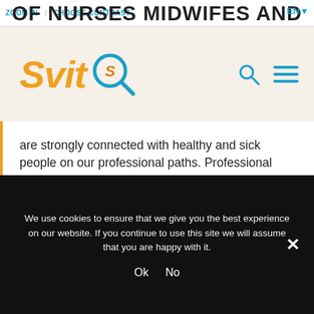ZOOM IN  CHOOSE CONTRAST  OF NURSES MIDWIFES AND  EN
[Figure (logo): Svit logo with magnifying glass icon, orange italic text 'Svit' with a blue magnifying glass containing an 'S'. Blue search and menu icons on the right.]
are strongly connected with healthy and sick people on our professional paths. Professional knowledge gives us the strength to influence people who are...
READ MORE
We use cookies to ensure that we give you the best experience on our website. If you continue to use this site we will assume that you are happy with it.
Ok  No